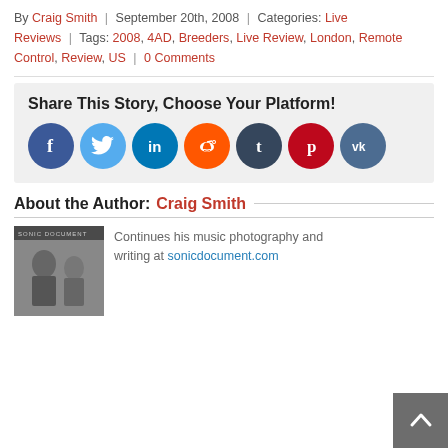By Craig Smith | September 20th, 2008 | Categories: Live Reviews | Tags: 2008, 4AD, Breeders, Live Review, London, Remote Control, Review, US | 0 Comments
[Figure (infographic): Share This Story, Choose Your Platform! with 7 social media icon circles: Facebook (dark blue), Twitter (light blue), LinkedIn (teal), Reddit (orange), Tumblr (dark slate), Pinterest (dark red), VK (steel blue)]
About the Author: Craig Smith
[Figure (photo): Black and white photo of Craig Smith, music photographer, with 'SONIC DOCUMENT' text overlay at top]
Continues his music photography and writing at sonicdocument.com